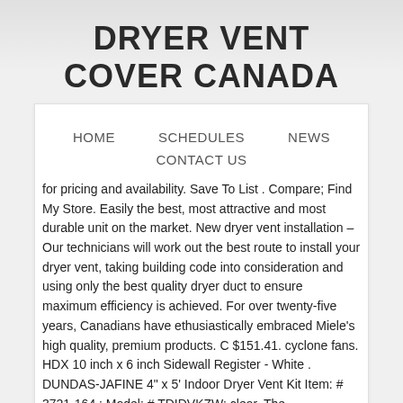DRYER VENT COVER CANADA
HOME
SCHEDULES
NEWS
CONTACT US
for pricing and availability. Save To List . Compare; Find My Store. Easily the best, most attractive and most durable unit on the market. New dryer vent installation – Our technicians will work out the best route to install your dryer vent, taking building code into consideration and using only the best quality dryer duct to ensure maximum efficiency is achieved. For over twenty-five years, Canadians have ethusiastically embraced Miele's high quality, premium products. C $151.41. cyclone fans. HDX 10 inch x 6 inch Sidewall Register - White . DUNDAS-JAFINE 4" x 5' Indoor Dryer Vent Kit Item: # 3721-164 ; Model: # TDIDVKZW; clear. The